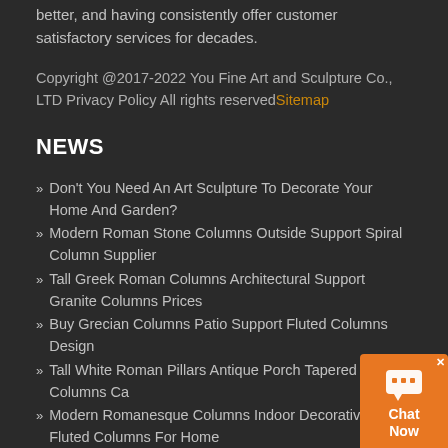better, and having consistently offer customer satisfactory services for decades.
Copyright @2017-2022 You Fine Art and Sculpture Co., LTD Privacy Policy All rights reserved Sitemap
NEWS
» Don't You Need An Art Sculpture To Decorate Your Home And Garden?
» Modern Roman Stone Columns Outside Support Spiral Column Supplier
» Tall Greek Roman Columns Architectural Support Granite Columns Prices
» Buy Grecian Columns Patio Support Fluted Columns Design
» Tall White Roman Pillars Antique Porch Tapered Columns Ca
» Modern Romanesque Columns Indoor Decorative Fluted Columns For Home